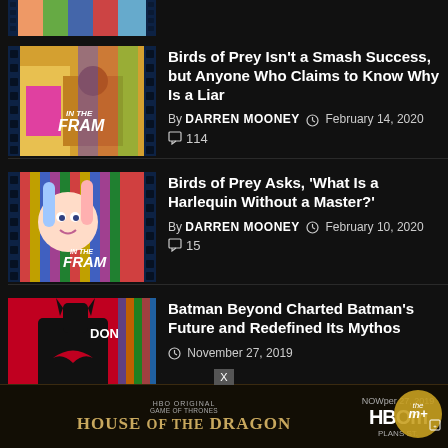[Figure (photo): Partial thumbnail of Birds of Prey film strip image at top]
Birds of Prey Isn't a Smash Success, but Anyone Who Claims to Know Why Is a Liar
By DARREN MOONEY  February 14, 2020  114
[Figure (photo): Thumbnail image of Birds of Prey - Harley Quinn with In The Frame film strip branding]
Birds of Prey Asks, 'What Is a Harlequin Without a Master?'
By DARREN MOONEY  February 10, 2020  15
[Figure (photo): Thumbnail image of Batman Beyond - Batman silhouette with DON'T text and Batman Beyond branding]
Batman Beyond Charted Batman's Future and Redefined Its Mythos
November 27, 2019
[Figure (screenshot): HBO Original Game of Thrones House of the Dragon advertisement bar]